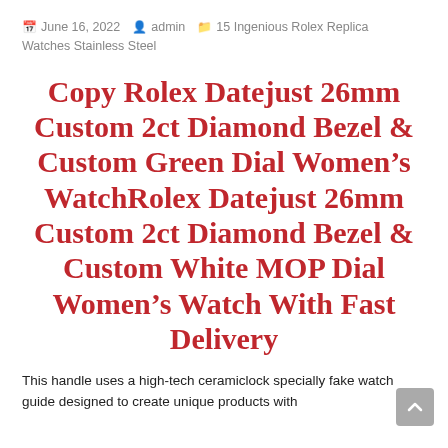June 16, 2022  admin  15 Ingenious Rolex Replica Watches Stainless Steel
Copy Rolex Datejust 26mm Custom 2ct Diamond Bezel & Custom Green Dial Women’s WatchRolex Datejust 26mm Custom 2ct Diamond Bezel & Custom White MOP Dial Women’s Watch With Fast Delivery
This handle uses a high-tech ceramiclock specially fake watch guide designed to create unique products with